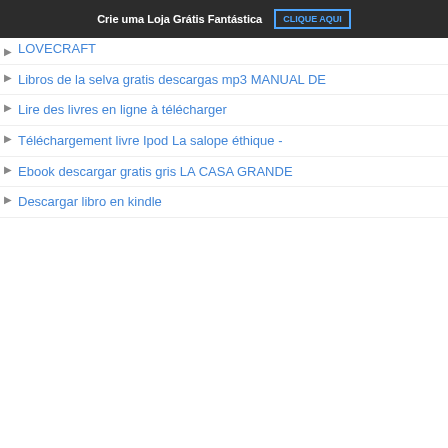Crie uma Loja Grátis Fantástica   CLIQUE AQUI
LOVECRAFT
Libros de la selva gratis descargas mp3 MANUAL DE
Lire des livres en ligne à télécharger
Téléchargement livre Ipod La salope éthique -
Ebook descargar gratis gris LA CASA GRANDE
Descargar libro en kindle